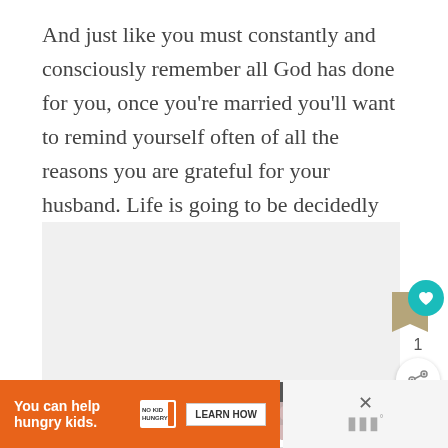And just like you must constantly and consciously remember all God has done for you, once you're married you'll want to remind yourself often of all the reasons you are grateful for your husband. Life is going to be decidedly different than what you've grown accustomed to.
[Figure (other): Gray blank image area with social interaction widgets (like button with heart icon showing count of 1, and share button) overlaid on the right side, plus a 'What's Next' panel showing 'The Perfect Winter...' article]
[Figure (other): Advertisement banner: orange background with text 'You can help hungry kids.' with No Kid Hungry logo and 'Learn How' button, followed by a close button and a secondary panel on the right]